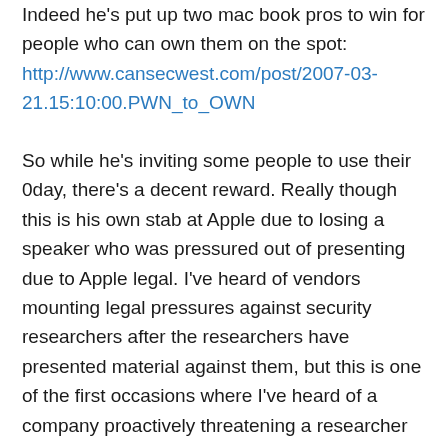Indeed he's put up two mac book pros to win for people who can own them on the spot: http://www.cansecwest.com/post/2007-03-21.15:10:00.PWN_to_OWN
So while he's inviting some people to use their 0day, there's a decent reward. Really though this is his own stab at Apple due to losing a speaker who was pressured out of presenting due to Apple legal. I've heard of vendors mounting legal pressures against security researchers after the researchers have presented material against them, but this is one of the first occasions where I've heard of a company proactively threatening a researcher out of talking. Admittedly, this story has been out and about a little bit, close the the brood reporter Robert Lemos put out this: